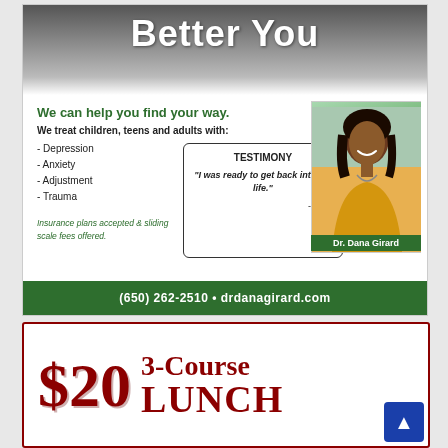Better You
We can help you find your way.
We treat children, teens and adults with:
- Depression
- Anxiety
- Adjustment
- Trauma
Insurance plans accepted & sliding scale fees offered.
TESTIMONY
"I was ready to get back into my life."
-Client
[Figure (photo): Photo of Dr. Dana Girard, a woman with long dark hair wearing a yellow top, smiling, with a green name banner overlay reading 'Dr. Dana Girard']
(650) 262-2510 • drdanagirard.com
$20 3-Course LUNCH